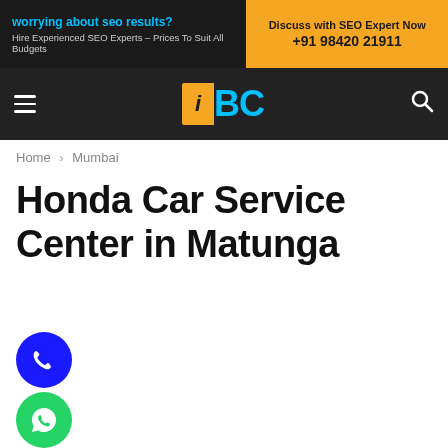[Figure (other): Advertisement banner: dark left side with 'worrying about seo results?' headline and 'Hire Experienced SEO Experts - Prices To Suit All Budgets' subtext; orange right side with 'Discuss with SEO Expert Now +91 98420 21911']
iBC navigation header with hamburger menu, iBC logo, and search icon
Home › Mumbai
Honda Car Service Center in Matunga
[Figure (other): Blue circle phone contact button and green WhatsApp contact button]